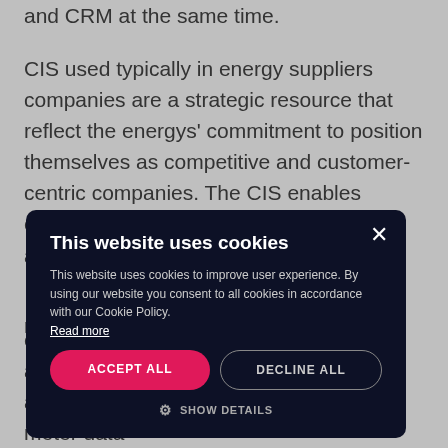and CRM at the same time.
CIS used typically in energy suppliers companies are a strategic resource that reflect the energys' commitment to position themselves as competitive and customer-centric companies. The CIS enables energy companies to be timely and proactive in … market forces
… ed to … and take the … anizational … meter data …
[Figure (screenshot): Cookie consent modal overlay with title 'This website uses cookies', body text, Read more link, ACCEPT ALL button (pink), DECLINE ALL button (outlined), and SHOW DETAILS option with gear icon. Close X button in top right.]